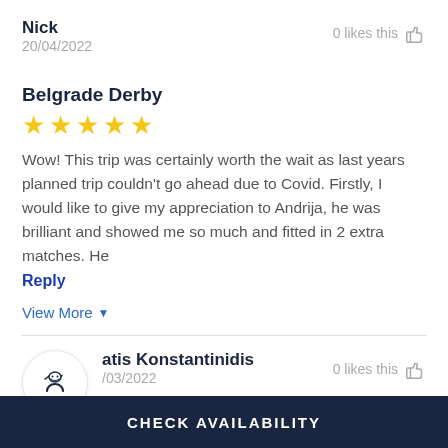Nick
20/04/2022
0 likes this
Belgrade Derby
★★★★★
Wow! This trip was certainly worth the wait as last years planned trip couldn't go ahead due to Covid. Firstly, I would like to give my appreciation to Andrija, he was brilliant and showed me so much and fitted in 2 extra matches. He
Reply
View More
atis Konstantinidis
/03/2022
0 likes this
CHECK AVAILABILITY